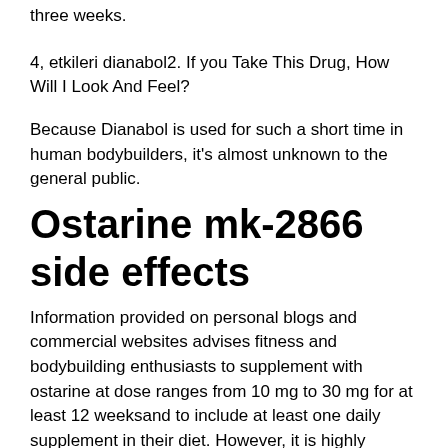three weeks.
4, etkileri dianabol2. If you Take This Drug, How Will I Look And Feel?
Because Dianabol is used for such a short time in human bodybuilders, it's almost unknown to the general public.
Ostarine mk-2866 side effects
Information provided on personal blogs and commercial websites advises fitness and bodybuilding enthusiasts to supplement with ostarine at dose ranges from 10 mg to 30 mg for at least 12 weeksand to include at least one daily supplement in their diet. However, it is highly recommended to consult with a dietitian before undertaking these programs. The following are additional